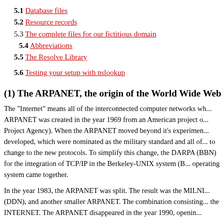5.1 Database files
5.2 Resource records
5.3 The complete files for our fictitious domain
5.4 Abbreviations
5.5 The Resolve Library
5.6 Testing your setup with nslookup
(1) The ARPANET, the origin of the World Wide Web
The "Internet" means all of the interconnected computer networks wh... ARPANET was created in the year 1969 from an American project o... Project Agency). When the ARPANET moved beyond it's experimen... developed, which were nominated as the military standard and all of... to change to the new protocols. To simplify this change, the DARPA (BBN) for the integration of TCP/IP in the Berkeley-UNIX system (B... operating system came together.
In the year 1983, the ARPANET was split. The result was the MILNI... (DDN), and another smaller ARPANET. The combination consisting... the INTERNET. The ARPANET disappeared in the year 1990, openin...